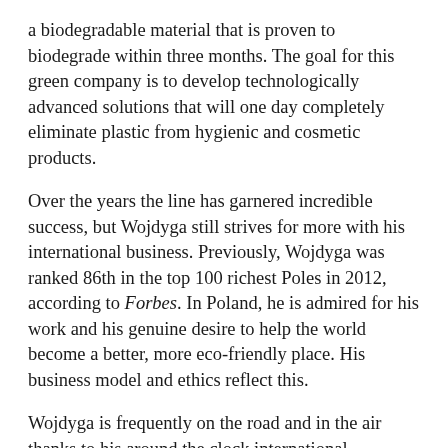a biodegradable material that is proven to biodegrade within three months. The goal for this green company is to develop technologically advanced solutions that will one day completely eliminate plastic from hygienic and cosmetic products.
Over the years the line has garnered incredible success, but Wojdyga still strives for more with his international business. Previously, Wojdyga was ranked 86th in the top 100 richest Poles in 2012, according to Forbes. In Poland, he is admired for his work and his genuine desire to help the world become a better, more eco-friendly place. His business model and ethics reflect this.
Wojdyga is frequently on the road and in the air thanks to his around the clock international meetings. He frequently goes back and forth from his home in Poland to South Florida with his family for business. The largest producer of wipes in Europe now calls Fort Lauderdale